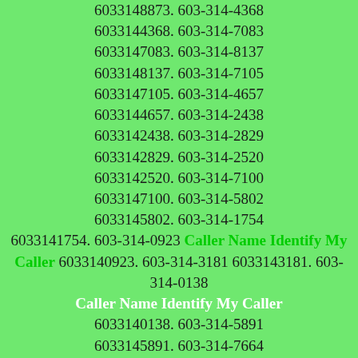6033148873. 603-314-4368 6033144368. 603-314-7083 6033147083. 603-314-8137 6033148137. 603-314-7105 6033147105. 603-314-4657 6033144657. 603-314-2438 6033142438. 603-314-2829 6033142829. 603-314-2520 6033142520. 603-314-7100 6033147100. 603-314-5802 6033145802. 603-314-1754 6033141754. 603-314-0923 Caller Name Identify My Caller 6033140923. 603-314-3181 6033143181. 603-314-0138 Caller Name Identify My Caller 6033140138. 603-314-5891 6033145891. 603-314-7664 6033147664. 603-314-5970 6033145970. 603-314-9800 6033149800. 603-314-2568 6033142568. 603-314-3282 6033143282. 603-314-8091 6033148091. 603-314-2042 6033142042. 603-314-5579 6033145579. 603-314-9695 6033149695. 603-314-1572